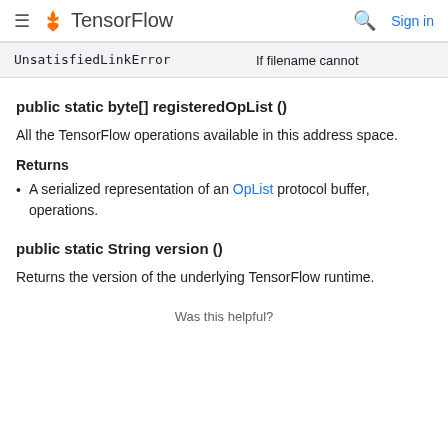TensorFlow  Sign in
| UnsatisfiedLinkError | If filename cannot |
public static byte[] registeredOpList ()
All the TensorFlow operations available in this address space.
Returns
A serialized representation of an OpList protocol buffer, operations.
public static String version ()
Returns the version of the underlying TensorFlow runtime.
Was this helpful?